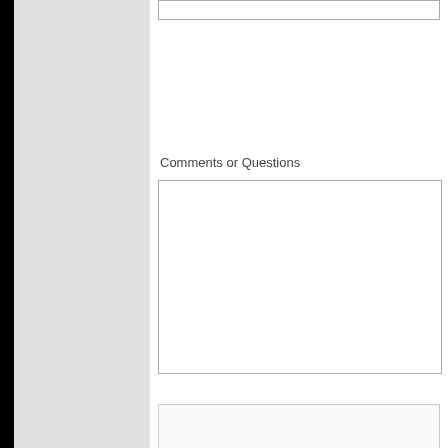[Figure (logo): National Fluid Power Association (NFPA) circular seal logo in light gray, with 'NFPA MEMBER' text below]
Comments or Questions
[Figure (screenshot): reCAPTCHA widget with checkbox and 'I'm not a robot' text]
Submit   Clear Form
Copyright © 2009 Ligon Hydraulic Cylinder Group    Home  \  Con